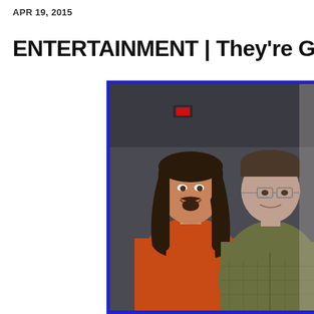APR 19, 2015
ENTERTAINMENT | They're G-
[Figure (photo): Two men standing together posing for a photo indoors against a dark wall. The man on the left has long dark hair and a goatee, wearing an orange sweater. The man on the right is younger, wearing glasses and a green/olive plaid zip-up hoodie. There is a red light visible on the wall in the background.]